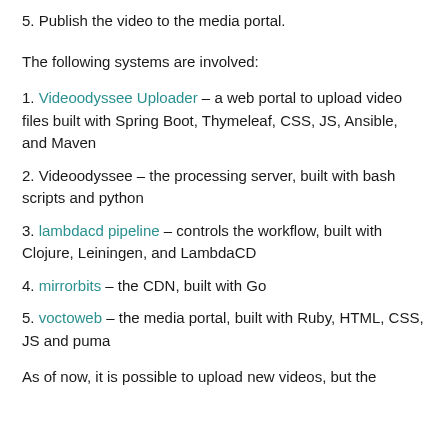5. Publish the video to the media portal.
The following systems are involved:
1. Videoodyssee Uploader – a web portal to upload video files built with Spring Boot, Thymeleaf, CSS, JS, Ansible, and Maven
2. Videoodyssee – the processing server, built with bash scripts and python
3. lambdacd pipeline – controls the workflow, built with Clojure, Leiningen, and LambdaCD
4. mirrorbits – the CDN, built with Go
5. voctoweb – the media portal, built with Ruby, HTML, CSS, JS and puma
As of now, it is possible to upload new videos, but the